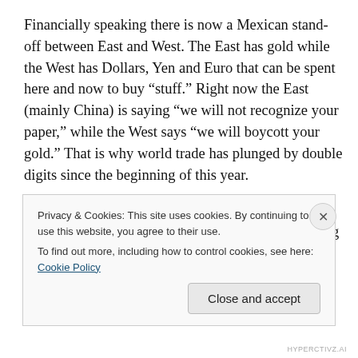Financially speaking there is now a Mexican stand-off between East and West. The East has gold while the West has Dollars, Yen and Euro that can be spent here and now to buy “stuff.” Right now the East (mainly China) is saying “we will not recognize your paper,” while the West says “we will boycott your gold.” That is why world trade has plunged by double digits since the beginning of this year.
Fortunately, it looks like the financial system negotiations have gone well. The essential deal being made is that gold will flow West and cash will flow East. The Westerners will
Privacy & Cookies: This site uses cookies. By continuing to use this website, you agree to their use.
To find out more, including how to control cookies, see here: Cookie Policy
HYPERCTIVZ.AI